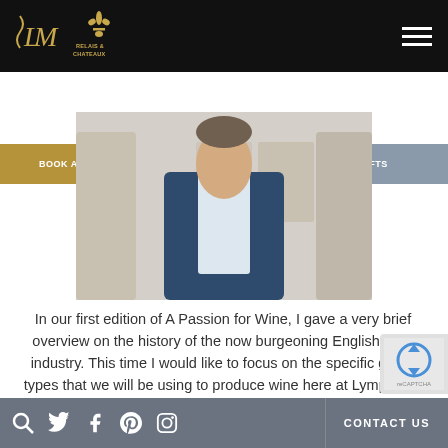Lympstone Manor - LM logo and Relais & Chateaux navigation header
[Figure (screenshot): Navigation bar with BOOK A ROOM (gold), BOOK A TABLE (grey), GIFTS (blue-grey) tabs]
[Figure (photo): Photo of a man in a navy blue suit standing indoors]
In our first edition of A Passion for Wine, I gave a very brief overview on the history of the now burgeoning English wine industry. This time I would like to focus on the specific grape types that we will be using to produce wine here at Lympstone Manor. The Lympstone Manor single vineyard, 9.4 acres in size, has been planted with the three va... used to produce sparkling wines in Champagne it...
CONTACT US | Social media icons: search, Twitter, Facebook, Pinterest, Instagram